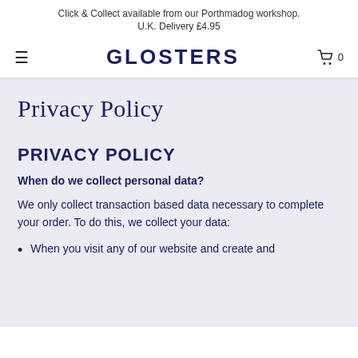Click & Collect available from our Porthmadog workshop.
U.K. Delivery £4.95
GLOSTERS
Privacy Policy
PRIVACY POLICY
When do we collect personal data?
We only collect transaction based data necessary to complete your order. To do this, we collect your data:
When you visit any of our website and create and